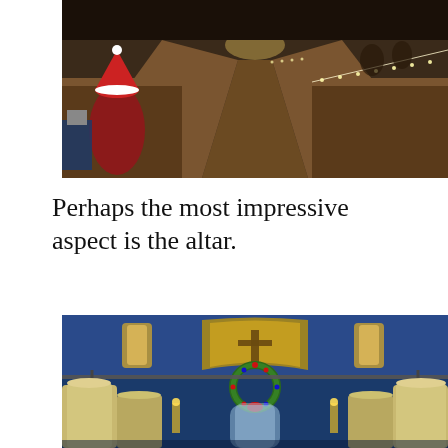[Figure (photo): Interior of a brewery or bar converted from a church, showing long wooden pews/bar counters with string lights, a person in a red shirt and Santa hat on the left, and a long perspective view down the aisle.]
Perhaps the most impressive aspect is the altar.
[Figure (photo): Interior of a brewery showing large stainless steel brewing tanks arranged in front of an ornate church altar area with blue walls, arched windows with stained glass, and a Christmas wreath hanging in the center.]